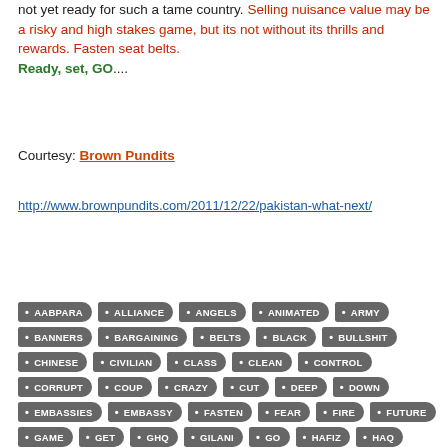not yet ready for such a tame country. Selling nuisance value may be a risky and high stakes game, but its not without its thrills and rewards. Fasten seat belts. Ready, set, GO....
Courtesy: Brown Pundits
http://www.brownpundits.com/2011/12/22/pakistan-what-next/
[Figure (infographic): Tag cloud with dark grey arrow/chevron-shaped tags: AABPARA, ALLIANCE, ANGELS, ANIMATED, ARMY, BANNERS, BARGAINING, BELTS, BLACK, BULLSHIT, CHINESE, CIVILIAN, CLASS, CLEAN, CONTROL, CORRUPT, COUP, CRAZY, CUT, DEEP, DOWN, EMBASSIES, EMBASSY, FASTEN, FEAR, FIRE, FUTURE, GAME, GET, GHQ, GILANI, GO, HAFIZ, HAQ, IMRAN, INCOMPETENT, JIHADIS, KHAN, KHORASAN, MADNESS, MIDDLE, MILITARY, MINISTER, MULLAH]